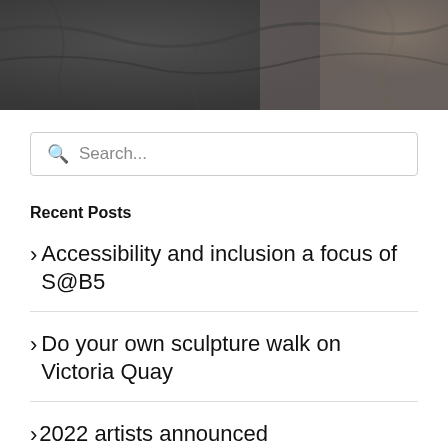[Figure (photo): Dark textured stone/rock surface photograph, cropped to show the top portion of the page]
Search...
Recent Posts
> Accessibility and inclusion a focus of S@B5
> Do your own sculpture walk on Victoria Quay
>2022 artists announced